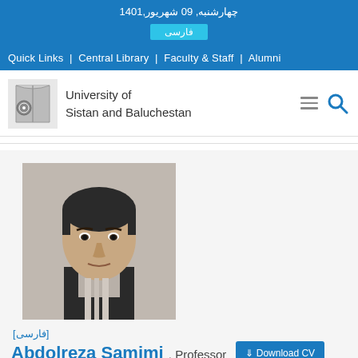چهارشنبه, 09 شهریور,1401
فارسی
Quick Links  |  Central Library  |  Faculty & Staff  |  Alumni
[Figure (logo): University of Sistan and Baluchestan logo with stylized book and emblem]
University of Sistan and Baluchestan
[Figure (photo): Portrait photo of Professor Abdolreza Samimi, a middle-aged man with dark hair wearing a dark jacket]
[فارسی]
Abdolreza Samimi , Professor
Download CV